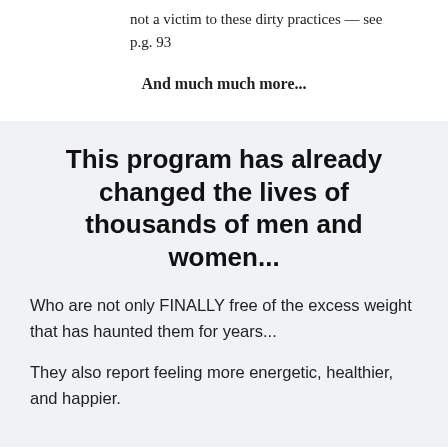not a victim to these dirty practices — see p.g. 93
And much much more...
This program has already changed the lives of thousands of men and women...
Who are not only FINALLY free of the excess weight that has haunted them for years...
They also report feeling more energetic, healthier, and happier.